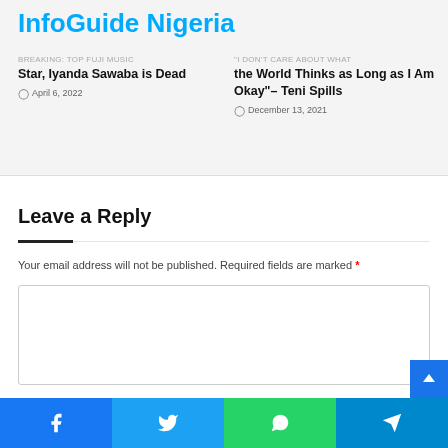InfoGuide Nigeria
BREAKING: Top Fuji Music Star, Iyanda Sawaba is Dead
April 6, 2022
"I Don't Care About What the World Thinks as Long as I Am Okay"– Teni Spills
December 13, 2021
Leave a Reply
Your email address will not be published. Required fields are marked *